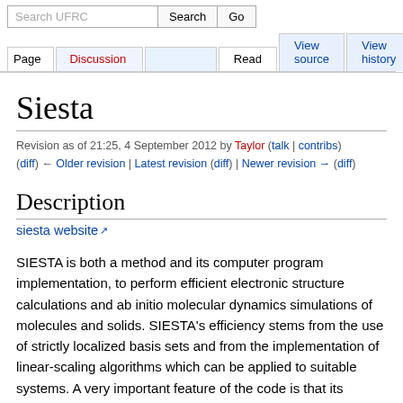Search UFRC | Search | Go | Page | Discussion | Read | View source | View history
Siesta
Revision as of 21:25, 4 September 2012 by Taylor (talk | contribs)
(diff) ← Older revision | Latest revision (diff) | Newer revision → (diff)
Description
siesta website
SIESTA is both a method and its computer program implementation, to perform efficient electronic structure calculations and ab initio molecular dynamics simulations of molecules and solids. SIESTA's efficiency stems from the use of strictly localized basis sets and from the implementation of linear-scaling algorithms which can be applied to suitable systems. A very important feature of the code is that its accuracy and cost can be tuned in a wide range, from quick exploratory calculations to highly